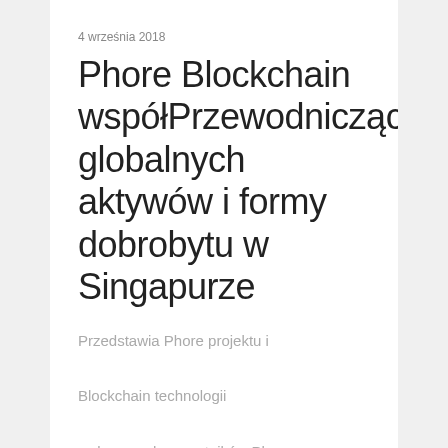4 września 2018
Phore Blockchain współPrzewodniczących globalnych aktywów i formy dobrobytu w Singapurze
Przedstawia Phore projektu i Blockchain technologii wpływowych uczestników Phore Blockchain co-CEO Anthony Alleyne,...